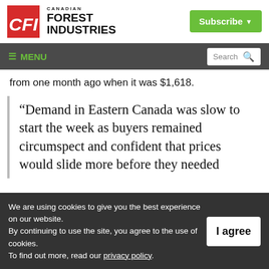Canadian Forest Industries — CFI logo with Subscribe button
≡ MENU | Search
from one month ago when it was $1,618.
“Demand in Eastern Canada was slow to start the week as buyers remained circumspect and confident that prices would slide more before they needed
We are using cookies to give you the best experience on our website. By continuing to use the site, you agree to the use of cookies. To find out more, read our privacy policy.